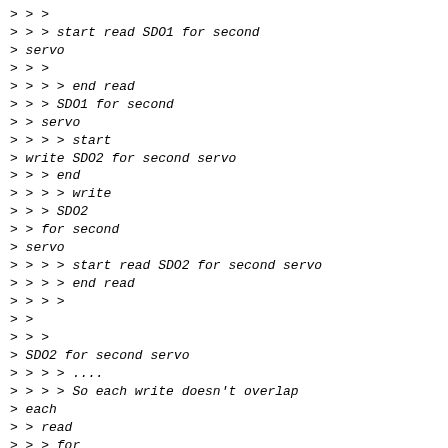> > >
> > > start read SDO1 for second
> servo
> > >
> > > > end read
> > > SDO1 for second
> > servo
> > > > start
> write SDO2 for second servo
> > > end
> > > > write
> > > SDO2
> > for second
> servo
> > > > start read SDO2 for second servo
> > > > end read
> > > >
> >
> > >
> SDO2 for second servo
> > > > ....
> > > > So each write doesn't overlap
> each
> > read
> > > for
> > > > each servo.
> > > > As far as I know managing
> Sdo inside
> > real time loop
> > > is not